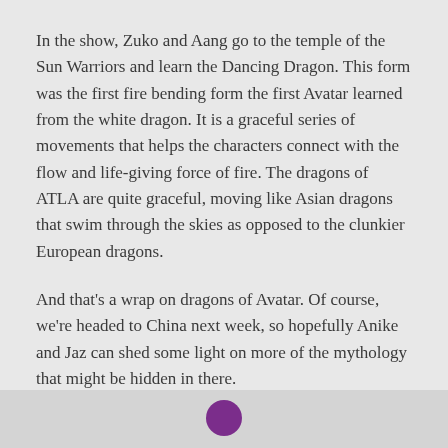In the show, Zuko and Aang go to the temple of the Sun Warriors and learn the Dancing Dragon. This form was the first fire bending form the first Avatar learned from the white dragon. It is a graceful series of movements that helps the characters connect with the flow and life-giving force of fire. The dragons of ATLA are quite graceful, moving like Asian dragons that swim through the skies as opposed to the clunkier European dragons.
And that's a wrap on dragons of Avatar. Of course, we're headed to China next week, so hopefully Anike and Jaz can shed some light on more of the mythology that might be hidden in there.
[Figure (other): Bottom section with a purple circle partially visible at the bottom center of the page, on a light gray background]